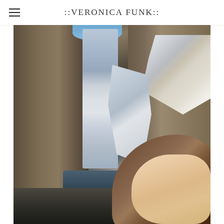::VERONICA FUNK::
[Figure (photo): A person wearing a brown baseball cap views a waterfall cascading through a rocky canyon with snow and ice formations on the right canyon wall. The photo is taken from inside the canyon looking toward the waterfall, with dark water visible at the base.]